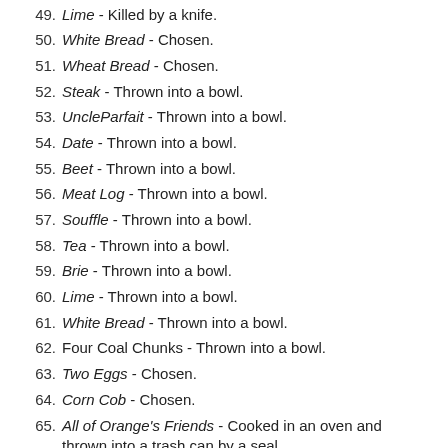49. Lime - Killed by a knife.
50. White Bread - Chosen.
51. Wheat Bread - Chosen.
52. Steak - Thrown into a bowl.
53. UncleParfait - Thrown into a bowl.
54. Date - Thrown into a bowl.
55. Beet - Thrown into a bowl.
56. Meat Log - Thrown into a bowl.
57. Souffle - Thrown into a bowl.
58. Tea - Thrown into a bowl.
59. Brie - Thrown into a bowl.
60. Lime - Thrown into a bowl.
61. White Bread - Thrown into a bowl.
62. Four Coal Chunks - Thrown into a bowl.
63. Two Eggs - Chosen.
64. Corn Cob - Chosen.
65. All of Orange's Friends - Cooked in an oven and thrown into a trash can by a seal.